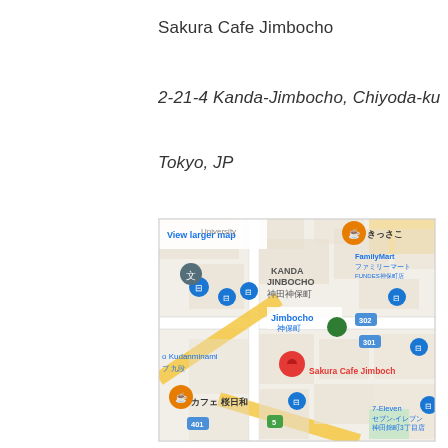Sakura Cafe Jimbocho
2-21-4 Kanda-Jimbocho, Chiyoda-ku
Tokyo, JP
[Figure (map): Google Maps showing Sakura Cafe Jimbocho location at Kanda-Jimbocho, with nearby landmarks including FamilyMart, Jimbocho station, Kudanminami, and 7-Eleven. Red location pin marks Sakura Cafe Jimbocho. 'View larger map' link visible in top-left corner.]